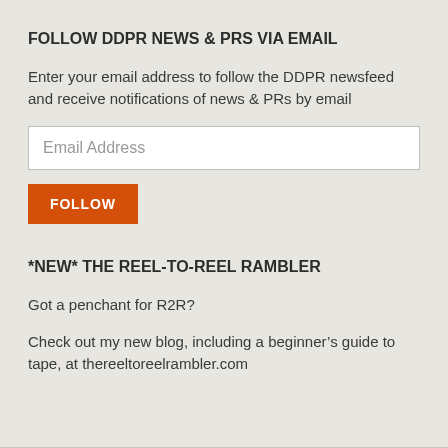FOLLOW DDPR NEWS & PRS VIA EMAIL
Enter your email address to follow the DDPR newsfeed and receive notifications of news & PRs by email
Email Address
FOLLOW
*NEW* THE REEL-TO-REEL RAMBLER
Got a penchant for R2R?
Check out my new blog, including a beginner’s guide to tape, at thereeltoreelrambler.com